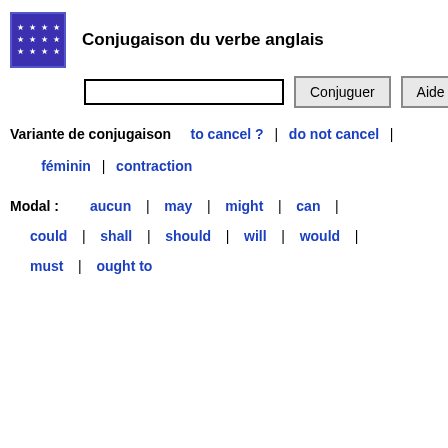[Figure (logo): Blue square logo with white stars arranged in a 4x3 grid pattern]
Conjugaison du verbe anglais
Variante de conjugaison  to cancel ?  |  do not cancel  |  féminin  |  contraction
Modal :  aucun  |  may  |  might  |  can  |  could  |  shall  |  should  |  will  |  would  |  must  |  ought to